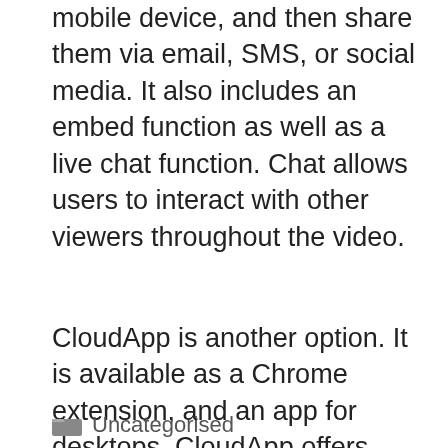you to make videos on your computer or mobile device, and then share them via email, SMS, or social media. It also includes an embed function as well as a live chat function. Chat allows users to interact with other viewers throughout the video.
CloudApp is another option. It is available as a Chrome extension, and an app for desktops. CloudApp offers many options to record and share videos with other users in cloud-hosted workspaces. Although it does not support resizing of webcam bubbles the interface for recording is simple to navigate and allows users to manage recordings and download them.
Uncategorised